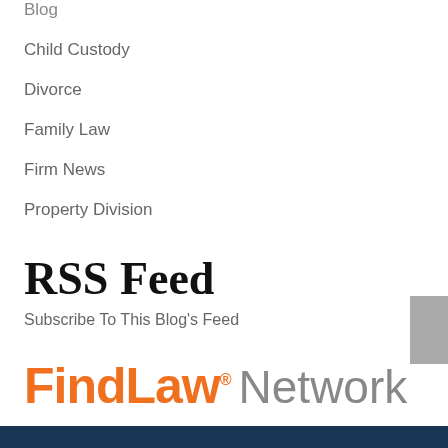Blog
Child Custody
Divorce
Family Law
Firm News
Property Division
RSS Feed
Subscribe To This Blog's Feed
[Figure (logo): FindLaw Network logo with orange FindLaw text and gray Network text]